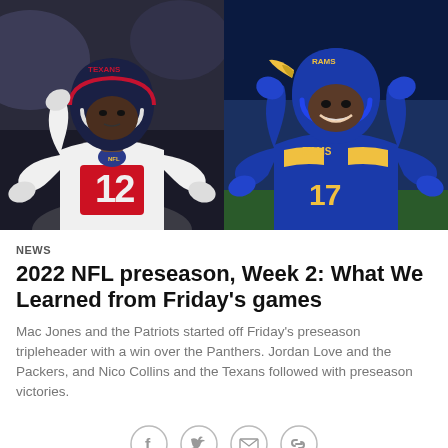[Figure (photo): Two NFL players side by side: left player in Houston Texans white uniform #12 with navy helmet making a gesture; right player in LA Rams blue/gold uniform smiling and making hand gestures]
NEWS
2022 NFL preseason, Week 2: What We Learned from Friday's games
Mac Jones and the Patriots started off Friday's preseason tripleheader with a win over the Panthers. Jordan Love and the Packers, and Nico Collins and the Texans followed with preseason victories.